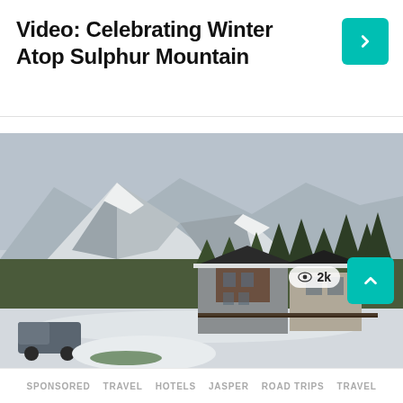Video: Celebrating Winter Atop Sulphur Mountain
[Figure (photo): Winter mountain landscape with snow-capped peaks, tall evergreen trees, and a modern stone-and-wood chalet building in the foreground. Snow covers the ground and rooftops. A truck is visible in the lower left corner.]
SPONSORED · TRAVEL · HOTELS · JASPER · ROAD TRIPS · TRAVEL